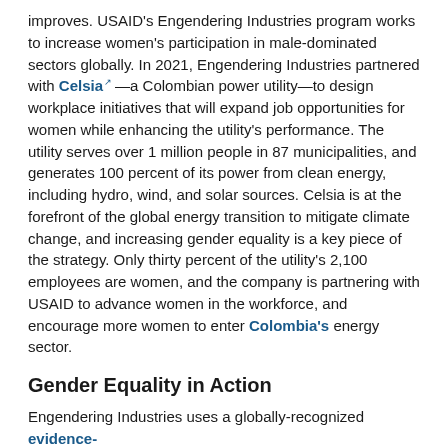improves. USAID's Engendering Industries program works to increase women's participation in male-dominated sectors globally. In 2021, Engendering Industries partnered with Celsia—a Colombian power utility—to design workplace initiatives that will expand job opportunities for women while enhancing the utility's performance. The utility serves over 1 million people in 87 municipalities, and generates 100 percent of its power from clean energy, including hydro, wind, and solar sources. Celsia is at the forefront of the global energy transition to mitigate climate change, and increasing gender equality is a key piece of the strategy. Only thirty percent of the utility's 2,100 employees are women, and the company is partnering with USAID to advance women in the workforce, and encourage more women to enter Colombia's energy sector.
Gender Equality in Action
Engendering Industries uses a globally-recognized evidence-based methodology to support women's participation in Colombia's energy sector. The program supports Celsia to increase opportunities for women by introducing gender equality initiatives at each phase of the employee lifecycle—from reducing gender bias at the hiring stage, to creating strategies that will help retain